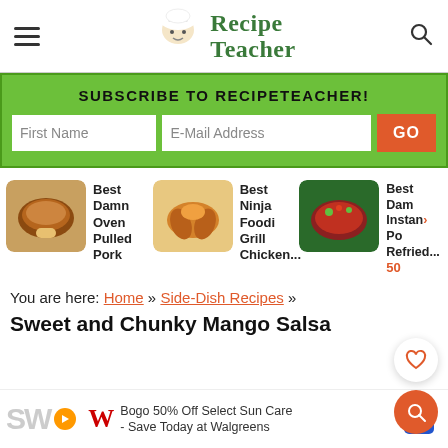Recipe Teacher
SUBSCRIBE TO RECIPETEACHER!
First Name | E-Mail Address | GO
[Figure (photo): Best Damn Oven Pulled Pork thumbnail]
Best Damn Oven Pulled Pork
[Figure (photo): Best Ninja Foodi Grill Chicken... thumbnail]
Best Ninja Foodi Grill Chicken...
[Figure (photo): Best Damn Instant Pot Refried... thumbnail]
Best Damn Instant Pot Refried... 50
You are here: Home » Side-Dish Recipes »
Sweet and Chunky Mango Salsa
Bogo 50% Off Select Sun Care - Save Today at Walgreens